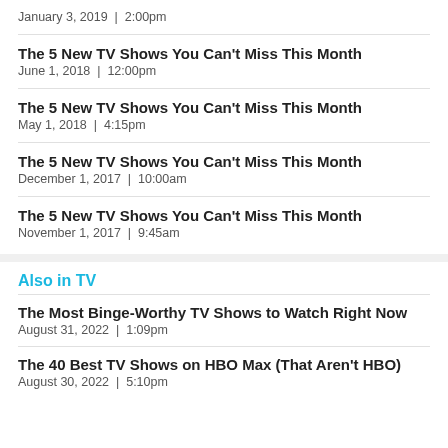January 3, 2019  |  2:00pm
The 5 New TV Shows You Can't Miss This Month
June 1, 2018  |  12:00pm
The 5 New TV Shows You Can't Miss This Month
May 1, 2018  |  4:15pm
The 5 New TV Shows You Can't Miss This Month
December 1, 2017  |  10:00am
The 5 New TV Shows You Can't Miss This Month
November 1, 2017  |  9:45am
Also in TV
The Most Binge-Worthy TV Shows to Watch Right Now
August 31, 2022  |  1:09pm
The 40 Best TV Shows on HBO Max (That Aren't HBO)
August 30, 2022  |  5:10pm